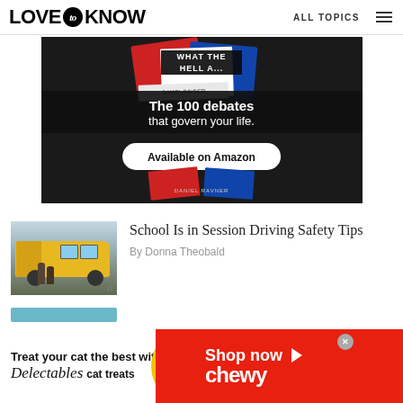LOVE to KNOW   ALL TOPICS
[Figure (photo): Advertisement banner with dark background showing a book titled 'What The Hell...' with text 'The 100 debates that govern your life.' and a button 'Available on Amazon' by Daniel Ravner]
[Figure (photo): Thumbnail of children boarding a yellow school bus]
School Is in Session Driving Safety Tips
By Donna Theobald
[Figure (photo): Advertisement banner: 'Treat your cat the best with Delectables cat treats' on left, cat image in circle center, 'Shop now' and 'chewy' logo on red right side]